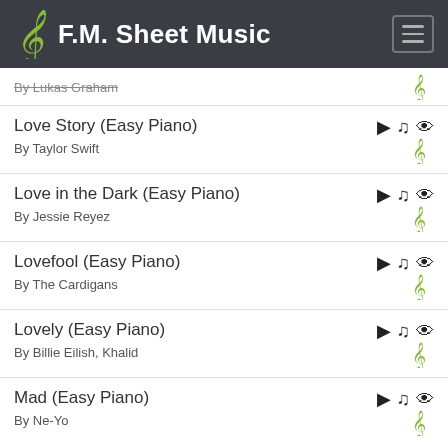F.M. Sheet Music
Love Story (Easy Piano) - By Taylor Swift
Love in the Dark (Easy Piano) - By Jessie Reyez
Lovefool (Easy Piano) - By The Cardigans
Lovely (Easy Piano) - By Billie Eilish, Khalid
Mad (Easy Piano) - By Ne-Yo